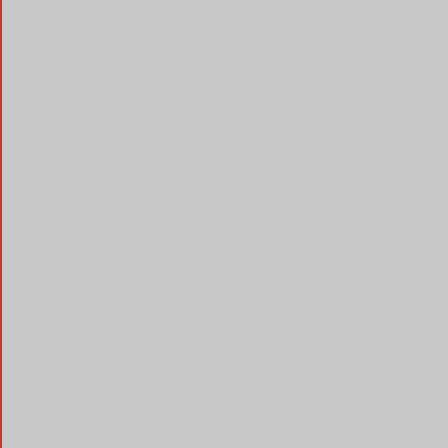[Figure (engineering-diagram): Grey rectangle with red/orange vertical border lines on left and right sides, representing a technical diagram or part illustration (cropped view).]
Horizontal Distance Between Holes (center to center)
Vertical Distance Between (center to center)
Bolt Hole Diameter
Bolt Hole Quantity
Pilot Diameter (M-Male/Female)
Centerline of Joint to Face
Compatible U-Joint Kit
Notes
Cast/Forged
Related Item(s)